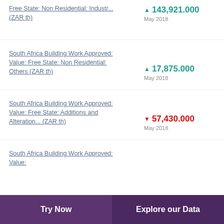Free State: Non Residential: Industr... (ZAR th)
South Africa Building Work Approved: Value: Free State: Non Residential: Others (ZAR th)
South Africa Building Work Approved: Value: Free State: Additions and Alteration... (ZAR th)
South Africa Building Work Approved: Value:
Try Now | Explore our Data